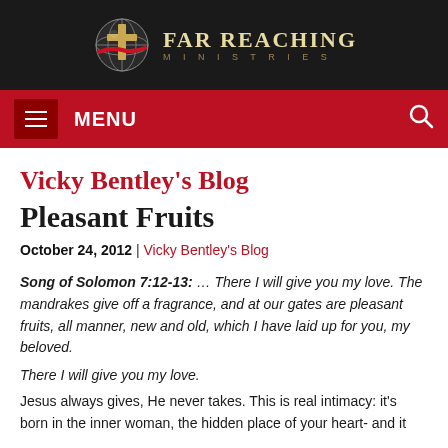[Figure (logo): Far Reaching Ministries logo with globe/cross icon and stylized text]
MENU
Vicky Bentley's Blog
Pleasant Fruits
October 24, 2012 | Vicky Bentley's Blog
Song of Solomon 7:12-13: … There I will give you my love. The mandrakes give off a fragrance, and at our gates are pleasant fruits, all manner, new and old, which I have laid up for you, my beloved.
There I will give you my love.
Jesus always gives, He never takes. This is real intimacy: it's born in the inner woman, the hidden place of your heart- and it